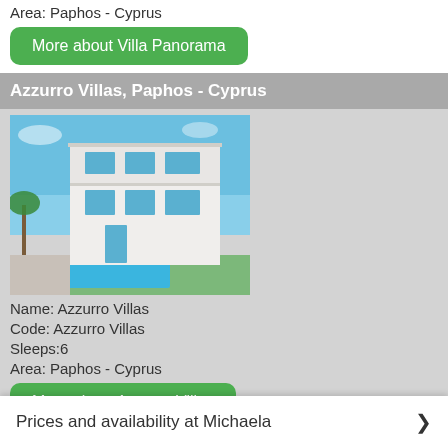Area: Paphos - Cyprus
More about Villa Panorama
Azzurro Villas, Paphos - Cyprus
[Figure (photo): Modern white villa with swimming pool and blue sky background]
Name: Azzurro Villas
Code: Azzurro Villas
Sleeps:6
Area: Paphos - Cyprus
More about Azzurro Villas
Coral Bay Villa 2, Paphos - Cyprus
[Figure (photo): Modern white villa with blue sky]
Prices and availability at Michaela